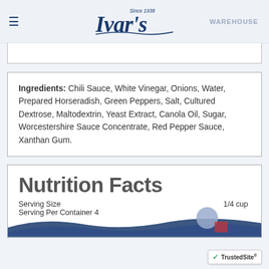Ivar's — Since 1938
Ingredients: Chili Sauce, White Vinegar, Onions, Water, Prepared Horseradish, Green Peppers, Salt, Cultured Dextrose, Maltodextrin, Yeast Extract, Canola Oil, Sugar, Worcestershire Sauce Concentrate, Red Pepper Sauce, Xanthan Gum.
Nutrition Facts
Serving Size   1/4 cup
Serving Per Container 4